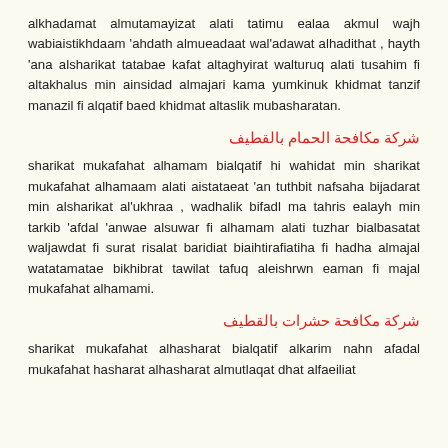alkhadamat almutamayizat alati tatimu ealaa akmul wajh wabiaistikhdaam 'ahdath almueadaat wal'adawat alhadithat , hayth 'ana alsharikat tatabae kafat altaghyirat walturuq alati tusahim fi altakhalus min ainsidad almajari kama yumkinuk khidmat tanzif manazil fi alqatif baed khidmat altaslik mubasharatan.
شركة مكافحة الحمام بالقطيف
sharikat mukafahat alhamam bialqatif hi wahidat min sharikat mukafahat alhamaam alati aistataeat 'an tuthbit nafsaha bijadarat min alsharikat al'ukhraa , wadhalik bifadl ma tahris ealayh min tarkib 'afdal 'anwae alsuwar fi alhamam alati tuzhar bialbasatat waljawdat fi surat risalat baridiat biaihtirafiatiha fi hadha almajal watatamatae bikhibrat tawilat tafuq aleishrwn eaman fi majal mukafahat alhamami.
شركة مكافحة حشرات بالقطيف
sharikat mukafahat alhasharat bialqatif alkarim nahn afadal mukafahat hasharat alhasharat almutlaqat dhat alfaeiliat